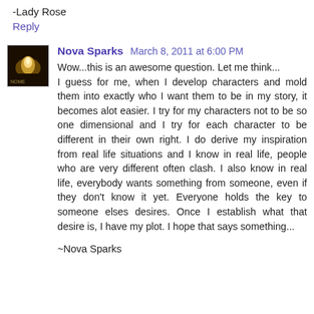-Lady Rose
Reply
Nova Sparks  March 8, 2011 at 6:00 PM
Wow...this is an awesome question. Let me think... I guess for me, when I develop characters and mold them into exactly who I want them to be in my story, it becomes alot easier. I try for my characters not to be so one dimensional and I try for each character to be different in their own right. I do derive my inspiration from real life situations and I know in real life, people who are very different often clash. I also know in real life, everybody wants something from someone, even if they don't know it yet. Everyone holds the key to someone elses desires. Once I establish what that desire is, I have my plot. I hope that says something...
~Nova Sparks